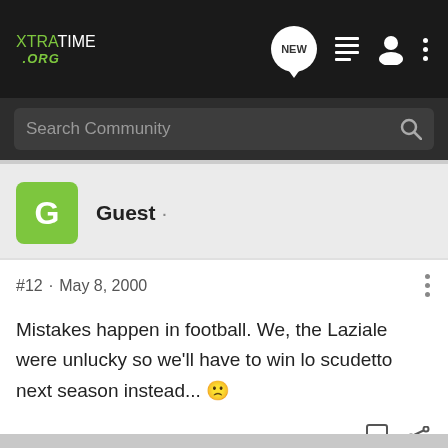XTRATIME .ORG
Search Community
Guest ·
#12 · May 8, 2000
Mistakes happen in football. We, the Laziale were unlucky so we'll have to win lo scudetto next season instead... 🙁